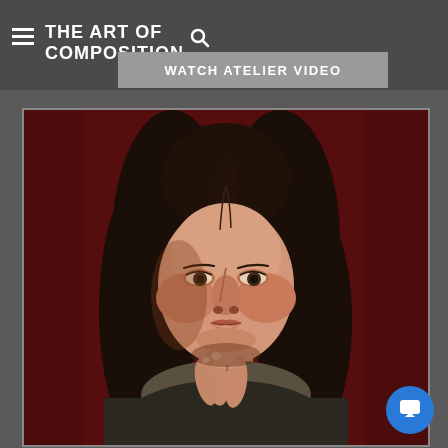Drawing above by Mandy Theis
THE ART OF COMPOSITION
WATCH ATELIER VIDEO
[Figure (photo): Oil painting portrait of a young woman with long dark hair, looking directly at the viewer with a contemplative expression, her hands clasped near her chin, painted against a dark red background in a classical realist style.]
[Figure (other): Blue circular chat/message button icon in the bottom right corner]